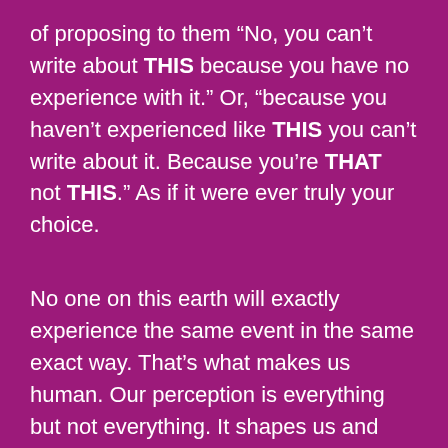of proposing to them “No, you can’t write about THIS because you have no experience with it.” Or, “because you haven’t experienced like THIS you can’t write about it. Because you’re THAT not THIS.” As if it were ever truly your choice.
No one on this earth will exactly experience the same event in the same exact way. That’s what makes us human. Our perception is everything but not everything. It shapes us and how we see things–and how WE CHOOSE to react back to it, that’s up to us. And some people are more aware of this than others. And some people will never get it. It’s true. But for those who are curious, who are willing, who are feeling—